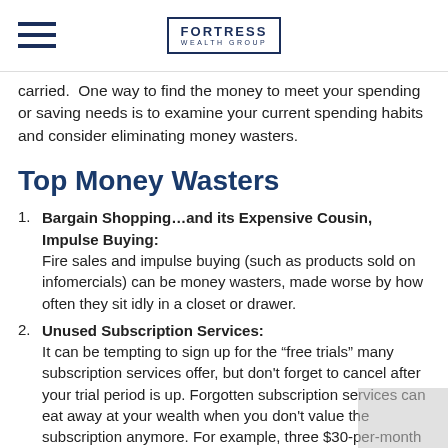Fortress Wealth Group
carried.  One way to find the money to meet your spending or saving needs is to examine your current spending habits and consider eliminating money wasters.
Top Money Wasters
Bargain Shopping…and its Expensive Cousin, Impulse Buying: Fire sales and impulse buying (such as products sold on infomercials) can be money wasters, made worse by how often they sit idly in a closet or drawer.
Unused Subscription Services: It can be tempting to sign up for the “free trials” many subscription services offer, but don't forget to cancel after your trial period is up. Forgotten subscription services can eat away at your wealth when you don't value the subscription anymore. For example, three $30-per-month subscriptions don't sound like much until you realize they total nearly $1,100 per year.
Cable and Cell: